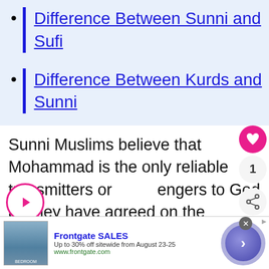Difference Between Sunni and Sufi
Difference Between Kurds and Sunni
Sunni Muslims believe that Mohammad is the only reliable transmitters or engers to God as they have agreed on the integration of Mohammad
[Figure (other): Advertisement banner for Frontgate SALES with bedroom photo, text 'Up to 30% off sitewide from August 23-25', URL www.frontgate.com, and a circular navigation button]